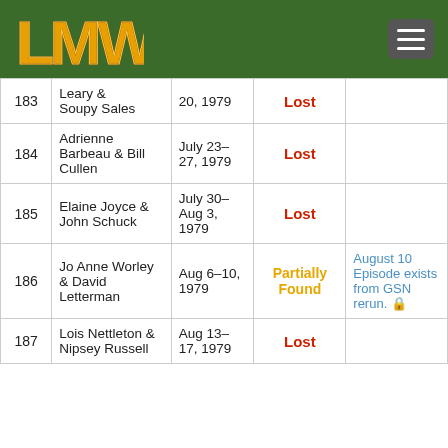LMW logo and menu button
| # | Guests | Dates | Status | Notes |
| --- | --- | --- | --- | --- |
| 183 | Leary & Soupy Sales | 20, 1979 | Lost |  |
| 184 | Adrienne Barbeau & Bill Cullen | July 23-27, 1979 | Lost |  |
| 185 | Elaine Joyce & John Schuck | July 30-Aug 3, 1979 | Lost |  |
| 186 | Jo Anne Worley & David Letterman | Aug 6-10, 1979 | Partially Found | August 10 Episode exists from GSN rerun. |
| 187 | Lois Nettleton & Nipsey Russell | Aug 13-17, 1979 | Lost |  |